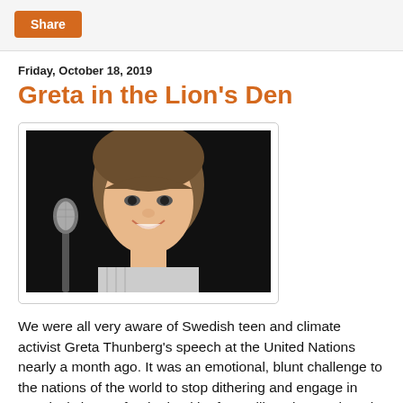Share
Friday, October 18, 2019
Greta in the Lion's Den
[Figure (photo): Photo of Greta Thunberg, a young woman with braided hair, smiling, holding a microphone, dark background]
We were all very aware of Swedish teen and climate activist Greta Thunberg's speech at the United Nations nearly a month ago. It was an emotional, blunt challenge to the nations of the world to stop dithering and engage in practical change for the health of our ailing planet. There is a Joan of Arc feel to Thunberg's leadership in a global youth movement, although religion or mention of a deity is simply